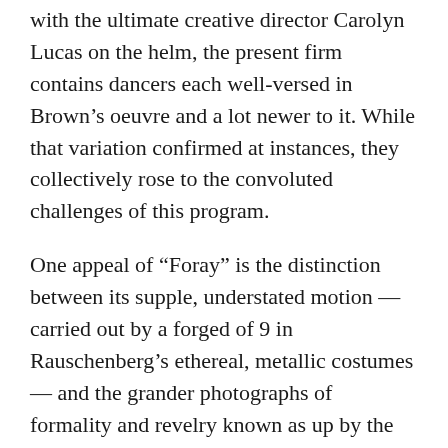with the ultimate creative director Carolyn Lucas on the helm, the present firm contains dancers each well-versed in Brown's oeuvre and a lot newer to it. While that variation confirmed at instances, they collectively rose to the convoluted challenges of this program.
One appeal of “Foray” is the distinction between its supple, understated motion — carried out by a forged of 9 in Rauschenberg’s ethereal, metallic costumes — and the grander photographs of formality and revelry known as up by the sound of the band. Brown was working with a vocabulary that she known as “delicate aberrations,” and small-scale gestures repeatedly catch the attention, like palms carving the air in a scalloping movement, or a forearm folding right into a rib.